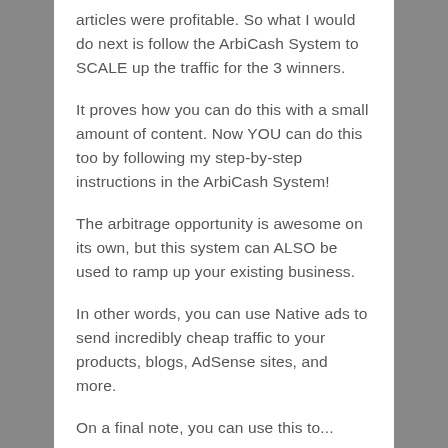articles were profitable. So what I would do next is follow the ArbiCash System to SCALE up the traffic for the 3 winners.
It proves how you can do this with a small amount of content. Now YOU can do this too by following my step-by-step instructions in the ArbiCash System!
The arbitrage opportunity is awesome on its own, but this system can ALSO be used to ramp up your existing business.
In other words, you can use Native ads to send incredibly cheap traffic to your products, blogs, AdSense sites, and more.
On a final note, you can use this to...